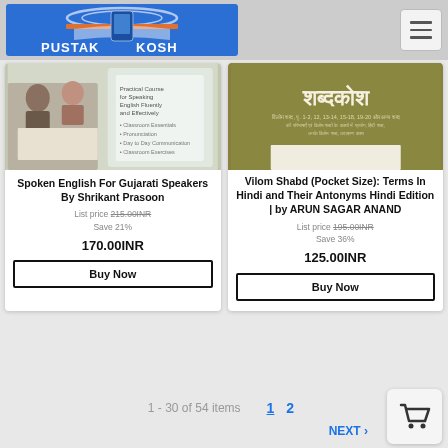[Figure (logo): Pustak Kosh logo — blue background with book and mobile phone graphic, orange bar, text PUSTAK KOSH]
[Figure (photo): Book cover for Spoken English For Gujarati Speakers By Shrikant Prasoon — people studying, smartphone with text]
Spoken English For Gujarati Speakers By Shrikant Prasoon
List price 215.00INR
Save 21%
170.00INR
Buy Now
[Figure (photo): Book cover for Vilom Shabd (Pocket Size) — Hindi text shabad kosha, golden/olive background]
Vilom Shabd (Pocket Size): Terms In Hindi and Their Antonyms Hindi Edition | by ARUN SAGAR ANAND
List price 195.00INR
Save 36%
125.00INR
Buy Now
1 - 30 of 54 items
1  2
NEXT >